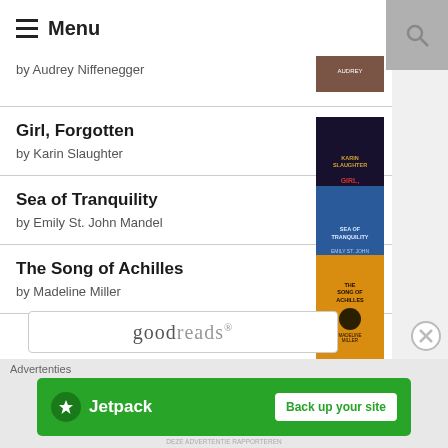Menu
by Audrey Niffenegger
Girl, Forgotten
by Karin Slaughter
Sea of Tranquility
by Emily St. John Mandel
The Song of Achilles
by Madeline Miller
[Figure (logo): goodreads logo]
Advertenties
[Figure (screenshot): Jetpack advertisement banner - Back up your site]